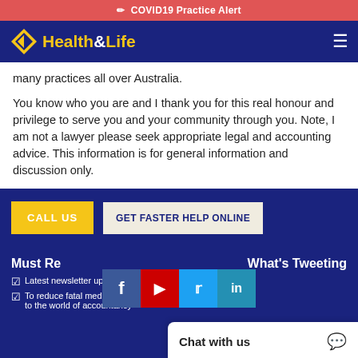COVID19 Practice Alert
[Figure (logo): Health&Life logo with diamond shape on dark blue navigation bar]
many practices all over Australia.
You know who you are and I thank you for this real honour and privilege to serve you and your community through you. Note, I am not a lawyer please seek appropriate legal and accounting advice. This information is for general information and discussion only.
CALL US
GET FASTER HELP ONLINE
Must Read
What's Tweeting
[Figure (screenshot): Social media icons: Facebook, YouTube, Twitter, LinkedIn]
Latest newsletter update and more
To reduce fatal medical error to the world of accountancy
Chat with us